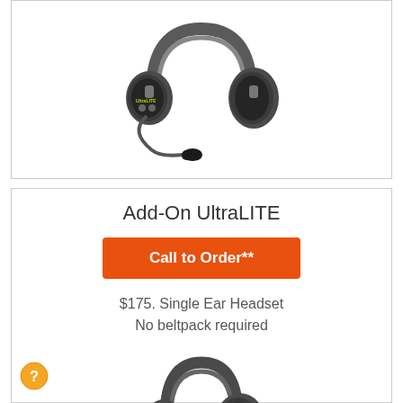[Figure (photo): Gray over-ear headset with microphone boom (UltraLITE branded), shown from front-left angle]
Add-On UltraLITE
Call to Order**
$175. Single Ear Headset
No beltpack required
[Figure (photo): Dark gray single-ear wireless headset (UltraLITE), shown from front-right angle, no boom microphone]
[Figure (other): Orange circular help/info button with question mark icon]